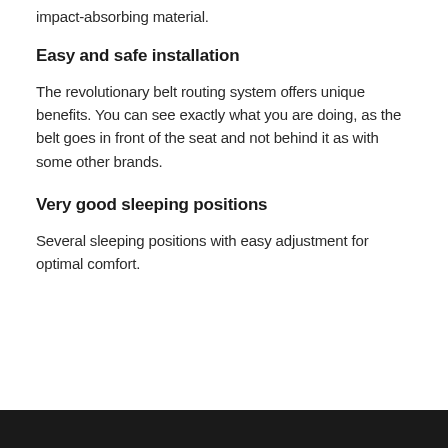impact-absorbing material.
Easy and safe installation
The revolutionary belt routing system offers unique benefits. You can see exactly what you are doing, as the belt goes in front of the seat and not behind it as with some other brands.
Very good sleeping positions
Several sleeping positions with easy adjustment for optimal comfort.